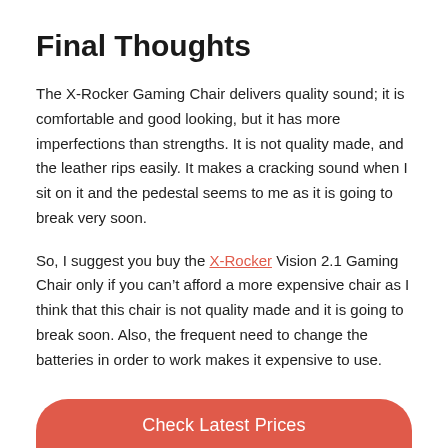Final Thoughts
The X-Rocker Gaming Chair delivers quality sound; it is comfortable and good looking, but it has more imperfections than strengths. It is not quality made, and the leather rips easily. It makes a cracking sound when I sit on it and the pedestal seems to me as it is going to break very soon.
So, I suggest you buy the X-Rocker Vision 2.1 Gaming Chair only if you can’t afford a more expensive chair as I think that this chair is not quality made and it is going to break soon. Also, the frequent need to change the batteries in order to work makes it expensive to use.
Check Latest Prices